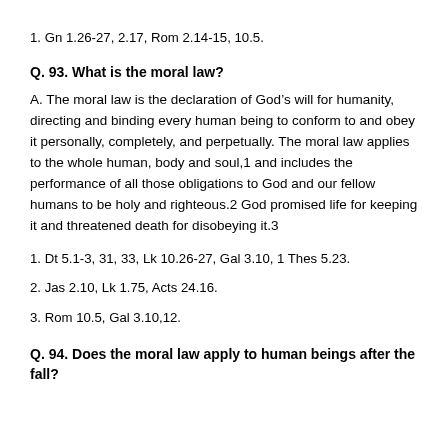1. Gn 1.26-27, 2.17, Rom 2.14-15, 10.5.
Q. 93. What is the moral law?
A. The moral law is the declaration of God’s will for humanity, directing and binding every human being to conform to and obey it personally, completely, and perpetually. The moral law applies to the whole human, body and soul,1 and includes the performance of all those obligations to God and our fellow humans to be holy and righteous.2 God promised life for keeping it and threatened death for disobeying it.3
1. Dt 5.1-3, 31, 33, Lk 10.26-27, Gal 3.10, 1 Thes 5.23.
2. Jas 2.10, Lk 1.75, Acts 24.16.
3. Rom 10.5, Gal 3.10,12.
Q. 94. Does the moral law apply to human beings after the fall?